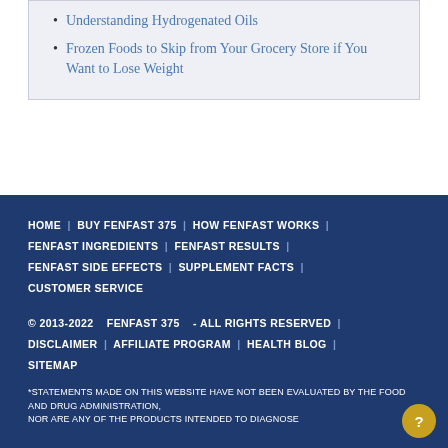Understanding Hydrogenated Oils
Frozen Foods to Skip from Your Grocery Store if You Want to Lose Weight
HOME | BUY FENFAST 375 | HOW FENFAST WORKS | FENFAST INGREDIENTS | FENFAST RESULTS | FENFAST SIDE EFFECTS | SUPPLEMENT FACTS | CUSTOMER SERVICE
© 2013-2022   FENFAST 375   - ALL RIGHTS RESERVED | DISCLAIMER | AFFILIATE PROGRAM | HEALTH BLOG | SITEMAP
*STATEMENTS MADE ON THIS WEBSITE HAVE NOT BEEN EVALUATED BY THE FOOD AND DRUG ADMINISTRATION, NOR ARE ANY OF THE PRODUCTS INTENDED TO DIAGNOSE